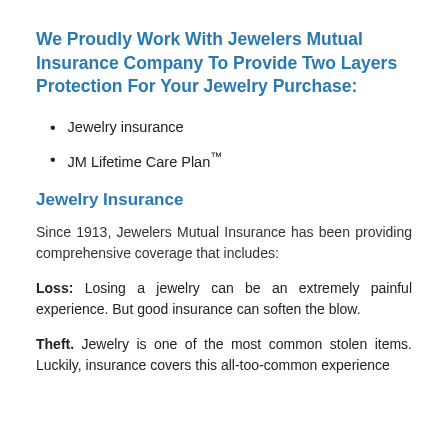We Proudly Work With Jewelers Mutual Insurance Company To Provide Two Layers Protection For Your Jewelry Purchase:
Jewelry insurance
JM Lifetime Care Plan™
Jewelry Insurance
Since 1913, Jewelers Mutual Insurance has been providing comprehensive coverage that includes:
Loss: Losing a jewelry can be an extremely painful experience. But good insurance can soften the blow.
Theft. Jewelry is one of the most common stolen items. Luckily, insurance covers this all-too-common experience